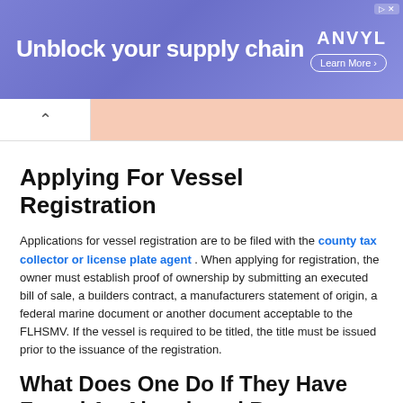[Figure (screenshot): Advertisement banner for ANVYL with text 'Unblock your supply chain' and a 'Learn More' button on a blue-purple gradient background]
Applying For Vessel Registration
Applications for vessel registration are to be filed with the county tax collector or license plate agent . When applying for registration, the owner must establish proof of ownership by submitting an executed bill of sale, a builders contract, a manufacturers statement of origin, a federal marine document or another document acceptable to the FLHSMV. If the vessel is required to be titled, the title must be issued prior to the issuance of the registration.
What Does One Do If They Have Found An Abandoned Boat